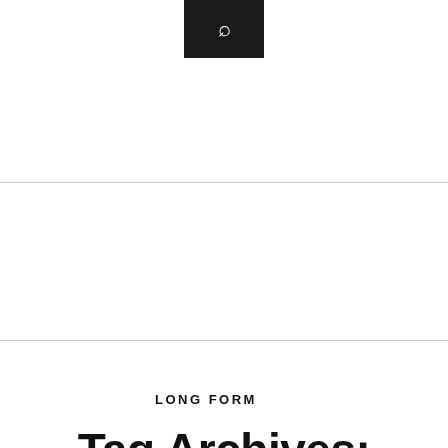[Figure (other): Black search bar with magnifying glass icon at top center of page]
Tag Archives: United States
LONG FORM